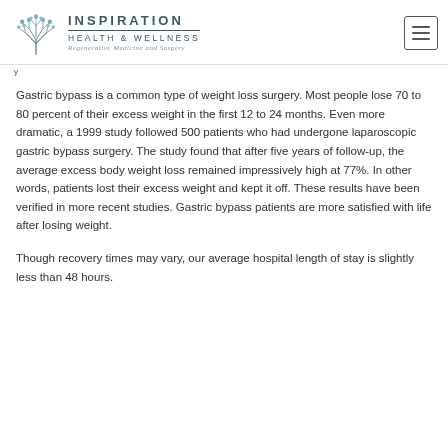INSPIRATION HEALTH & WELLNESS — Regenerative Medicine and Surgery
Gastric bypass is a common type of weight loss surgery. Most people lose 70 to 80 percent of their excess weight in the first 12 to 24 months. Even more dramatic, a 1999 study followed 500 patients who had undergone laparoscopic gastric bypass surgery. The study found that after five years of follow-up, the average excess body weight loss remained impressively high at 77%. In other words, patients lost their excess weight and kept it off. These results have been verified in more recent studies. Gastric bypass patients are more satisfied with life after losing weight.
Though recovery times may vary, our average hospital length of stay is slightly less than 48 hours.